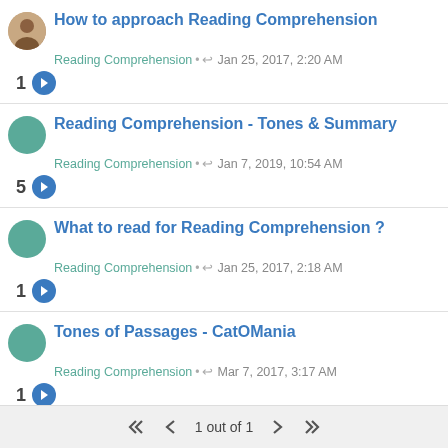How to approach Reading Comprehension
Reading Comprehension • ↩ Jan 25, 2017, 2:20 AM
1 →
Reading Comprehension - Tones & Summary
Reading Comprehension • ↩ Jan 7, 2019, 10:54 AM
5 →
What to read for Reading Comprehension ?
Reading Comprehension • ↩ Jan 25, 2017, 2:18 AM
1 →
Tones of Passages - CatOMania
Reading Comprehension • ↩ Mar 7, 2017, 3:17 AM
1 →
CAT EXAM 2017 - Tips and Tricks to Solve
Reading comprehension Passages
1 out of 1